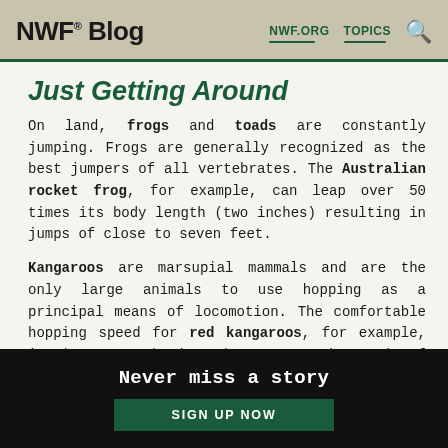NWF® Blog — NWF.ORG  TOPICS
Just Getting Around
On land, frogs and toads are constantly jumping. Frogs are generally recognized as the best jumpers of all vertebrates. The Australian rocket frog, for example, can leap over 50 times its body length (two inches) resulting in jumps of close to seven feet.
Kangaroos are marsupial mammals and are the only large animals to use hopping as a principal means of locomotion. The comfortable hopping speed for red kangaroos, for example, is about 15 mph, but they can reach speeds of 40 mph over
Never miss a story
SIGN UP NOW